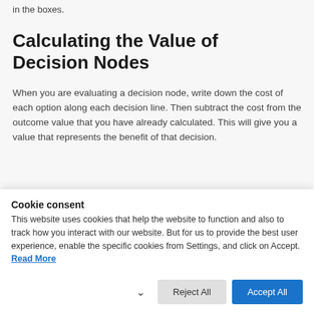in the boxes.
Calculating the Value of Decision Nodes
When you are evaluating a decision node, write down the cost of each option along each decision line. Then subtract the cost from the outcome value that you have already calculated. This will give you a value that represents the benefit of that decision.
Cookie consent
This website uses cookies that help the website to function and also to track how you interact with our website. But for us to provide the best user experience, enable the specific cookies from Settings, and click on Accept. Read More